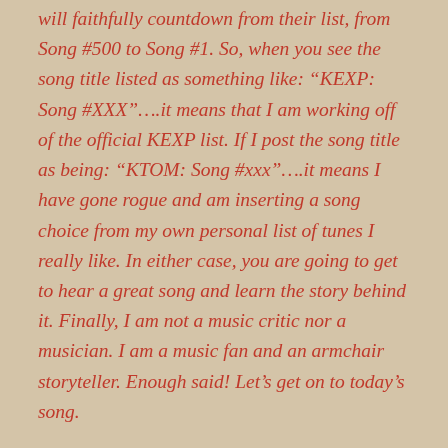will faithfully countdown from their list, from Song #500 to Song #1. So, when you see the song title listed as something like: "KEXP: Song #XXX"….it means that I am working off of the official KEXP list. If I post the song title as being: "KTOM: Song #xxx"….it means I have gone rogue and am inserting a song choice from my own personal list of tunes I really like. In either case, you are going to get to hear a great song and learn the story behind it. Finally, I am not a music critic nor a musician. I am a music fan and an armchair storyteller. Enough said! Let's get on to today's song.
KEXP: The Top 500 Songs in Modern Music History.
Song #278: Svefn-g-englar by Sigur Ros.
When it comes to movies, I have a soft spot in my heart